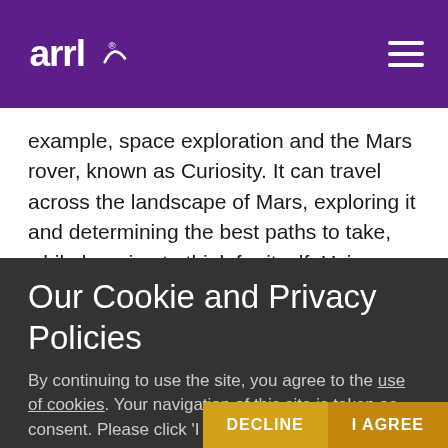ARRL logo and navigation menu
example, space exploration and the Mars rover, known as Curiosity. It can travel across the landscape of Mars, exploring it and determining the best paths to take, while learning to think for itself. Using artificial intelligence in this manner could potentially lead to massive benefits in areas such as demand forecasting, medical diagnosis and oil
Our Cookie and Privacy Policies
By continuing to use the site, you agree to the use of cookies. Your navigation of this site is taken as consent. Please click ‘I Agree’ to dismiss this message.
DECLINE  I AGREE